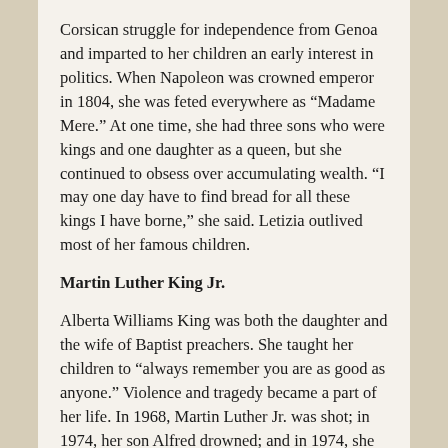Corsican struggle for independence from Genoa and imparted to her children an early interest in politics. When Napoleon was crowned emperor in 1804, she was feted everywhere as “Madame Mere.” At one time, she had three sons who were kings and one daughter as a queen, but she continued to obsess over accumulating wealth. “I may one day have to find bread for all these kings I have borne,” she said. Letizia outlived most of her famous children.
Martin Luther King Jr.
Alberta Williams King was both the daughter and the wife of Baptist preachers. She taught her children to “always remember you are as good as anyone.” Violence and tragedy became a part of her life. In 1968, Martin Luther Jr. was shot; in 1974, her son Alfred drowned; and in 1974, she herself was killed by a deranged gunman while she was playing the organ in church.
Louisa May Alcott